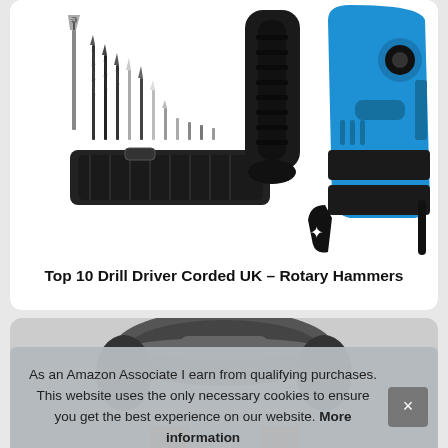[Figure (photo): Photo of a rotary hammer drill (blue and black) alongside a set of drill bits and a black carrying roll/pouch on a white background]
Top 10 Drill Driver Corded UK – Rotary Hammers
[Figure (photo): Partial photo of a power tool (black and orange) visible behind a cookie consent banner]
As an Amazon Associate I earn from qualifying purchases. This website uses the only necessary cookies to ensure you get the best experience on our website. More information